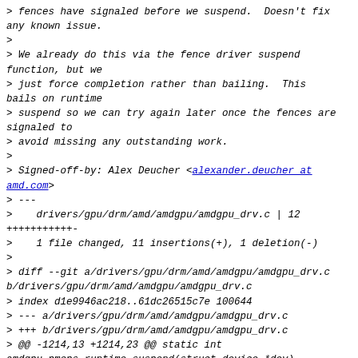> fences have signaled before we suspend.  Doesn't fix any known issue.
>
> We already do this via the fence driver suspend function, but we
> just force completion rather than bailing.  This bails on runtime
> suspend so we can try again later once the fences are signaled to
> avoid missing any outstanding work.
>
> Signed-off-by: Alex Deucher <alexander.deucher at amd.com>
> ---
>    drivers/gpu/drm/amd/amdgpu/amdgpu_drv.c | 12 +++++++++++-
>    1 file changed, 11 insertions(+), 1 deletion(-)
>
> diff --git a/drivers/gpu/drm/amd/amdgpu/amdgpu_drv.c b/drivers/gpu/drm/amd/amdgpu/amdgpu_drv.c
> index d1e9946ac218..61dc26515c7e 100644
> --- a/drivers/gpu/drm/amd/amdgpu/amdgpu_drv.c
> +++ b/drivers/gpu/drm/amd/amdgpu/amdgpu_drv.c
> @@ -1214,13 +1214,23 @@ static int amdgpu_pmops_runtime_suspend(struct device *dev)
>        struct pci_dev *pdev = to_pci_dev(dev);
>        struct drm_device *drm_dev = pci_get_drvdata(pdev);
>        struct amdgpu_device *adev = drm_dev->dev_private;